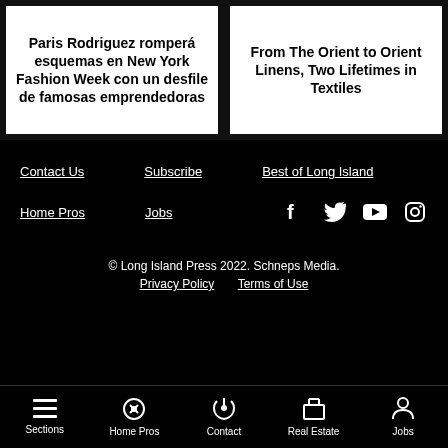Paris Rodriguez romperá esquemas en New York Fashion Week con un desfile de famosas emprendedoras
From The Orient to Orient Linens, Two Lifetimes in Textiles
Contact Us
Subscribe
Best of Long Island
Home Pros
Jobs
© Long Island Press 2022. Schneps Media. Privacy Policy  Terms of Use
Sections  Home Pros  Contact  Real Estate  Jobs